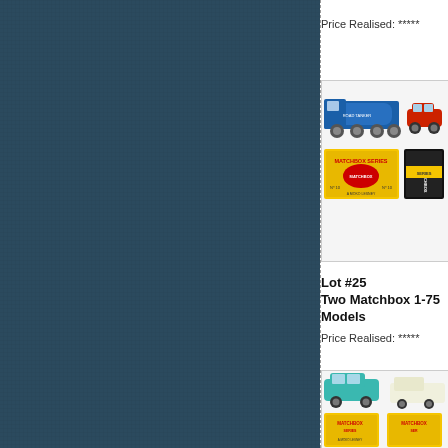[Figure (photo): Dark teal/navy blue fabric texture background filling the left two-thirds of the page]
Price Realised: *****
[Figure (photo): Photo of two Matchbox 1-75 Series model vehicles with original boxes — a blue tanker truck and a red car, with yellow Matchbox Series boxes visible]
Lot #25
Two Matchbox 1-75 Models
Price Realised: *****
[Figure (photo): Partial photo at bottom showing a teal/turquoise car model and another vehicle with Matchbox Series boxes on a white background]